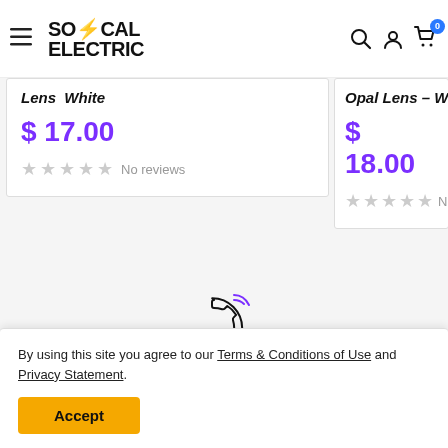SoCal Electric - navigation header with hamburger menu, logo, search, account, and cart icons
Lens - White
$ 17.00
No reviews
Opal Lens - Whi...
$ 18.00
No rev...
[Figure (illustration): Phone icon with signal waves indicating a call]
Have A Question?
By using this site you agree to our Terms & Conditions of Use and Privacy Statement.